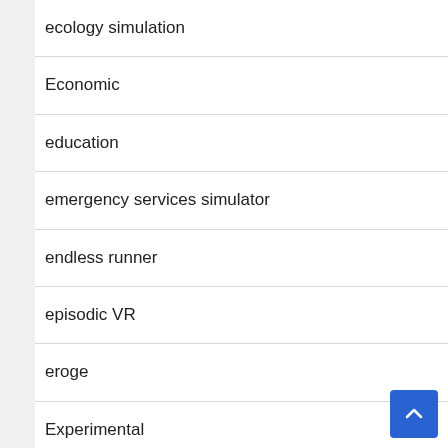ecology simulation
Economic
education
emergency services simulator
endless runner
episodic VR
eroge
Experimental
exploration